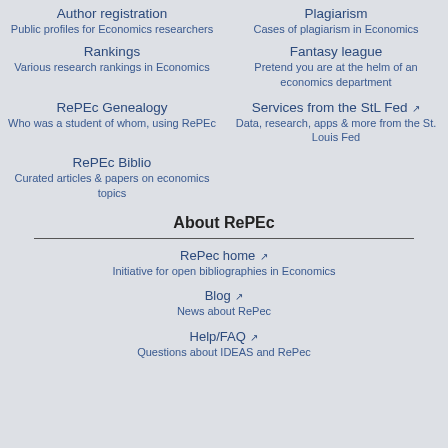Author registration
Public profiles for Economics researchers
Plagiarism
Cases of plagiarism in Economics
Rankings
Various research rankings in Economics
Fantasy league
Pretend you are at the helm of an economics department
RePEc Genealogy
Who was a student of whom, using RePEc
Services from the StL Fed
Data, research, apps & more from the St. Louis Fed
RePEc Biblio
Curated articles & papers on economics topics
About RePEc
RePEc home
Initiative for open bibliographies in Economics
Blog
News about RePEc
Help/FAQ
Questions about IDEAS and RePec